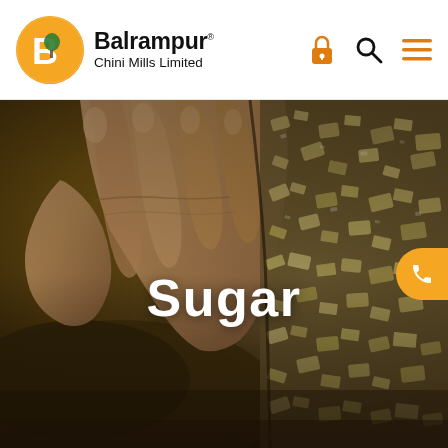Balrampur Chini Mills Limited
[Figure (photo): Close-up photograph of a hand holding sugar crystals, dark moody background with raw crystalline sugar visible]
Sugar